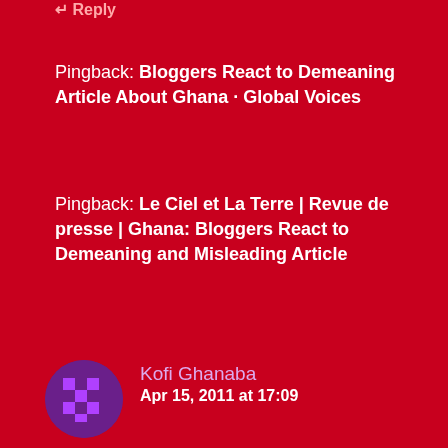↩ Reply
Pingback: Bloggers React to Demeaning Article About Ghana · Global Voices
Pingback: Le Ciel et La Terre | Revue de presse | Ghana: Bloggers React to Demeaning and Misleading Article
Kofi Ghanaba
Apr 15, 2011 at 17:09
Did anyone bother to search for and read the original article? I posted the link to the article and video below. While this does not make them any less responsible, CNN just reposted an article they found